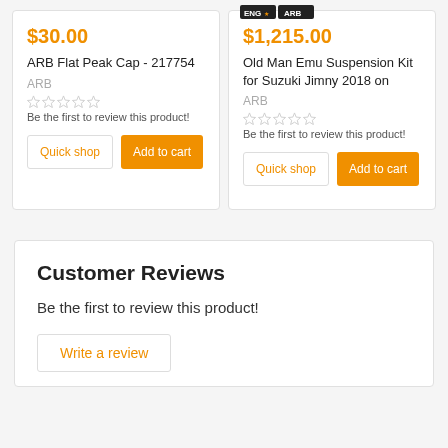[Figure (logo): Small ARB/brand logo in top right area of page]
$30.00
ARB Flat Peak Cap - 217754
ARB
Be the first to review this product!
$1,215.00
Old Man Emu Suspension Kit for Suzuki Jimny 2018 on
ARB
Be the first to review this product!
Customer Reviews
Be the first to review this product!
Write a review